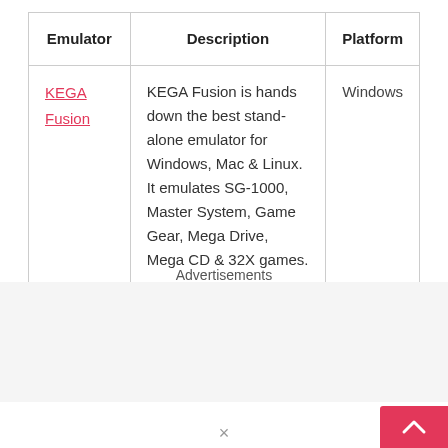| Emulator | Description | Platform |
| --- | --- | --- |
| KEGA Fusion | KEGA Fusion is hands down the best stand-alone emulator for Windows, Mac & Linux. It emulates SG-1000, Master System, Game Gear, Mega Drive, Mega CD & 32X games. | Windows |
Advertisements